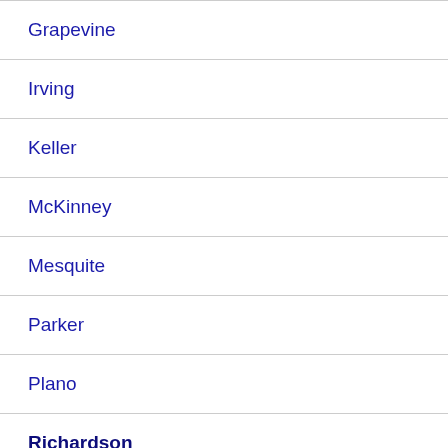Grapevine
Irving
Keller
McKinney
Mesquite
Parker
Plano
Richardson